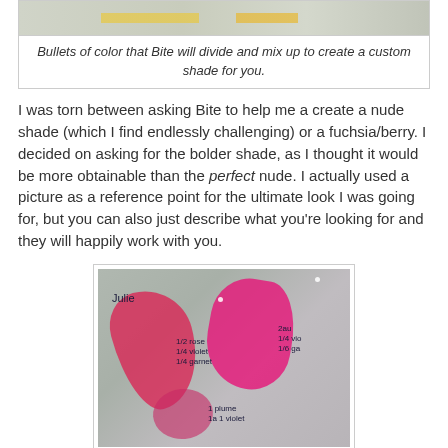[Figure (photo): Partial view of color bullets/lipstick swatches on a surface]
Bullets of color that Bite will divide and mix up to create a custom shade for you.
I was torn between asking Bite to help me a create a nude shade (which I find endlessly challenging) or a fuchsia/berry. I decided on asking for the bolder shade, as I thought it would be more obtainable than the perfect nude. I actually used a picture as a reference point for the ultimate look I was going for, but you can also just describe what you're looking for and they will happily work with you.
[Figure (photo): Photo of pink/red lipstick color swatches mixed on a metal surface with handwritten notes including 'Julie', '1/2 rose', '1/4 violet', '1/4 garnet', '2au', '1/4 vio', '1/6 ga', '1 plume', '1a 1 violet']